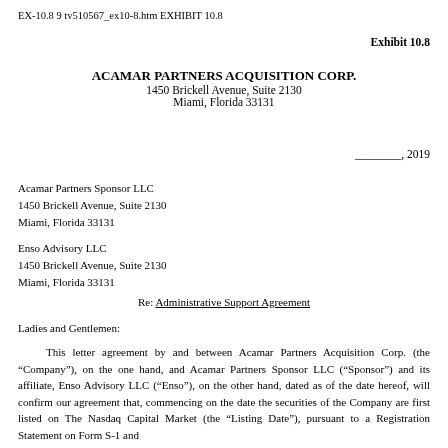EX-10.8 9 tv510567_ex10-8.htm EXHIBIT 10.8
Exhibit 10.8
ACAMAR PARTNERS ACQUISITION CORP.
1450 Brickell Avenue, Suite 2130
Miami, Florida 33131
________, 2019
Acamar Partners Sponsor LLC
1450 Brickell Avenue, Suite 2130
Miami, Florida 33131
Enso Advisory LLC
1450 Brickell Avenue, Suite 2130
Miami, Florida 33131
Re: Administrative Support Agreement
Ladies and Gentlemen:
This letter agreement by and between Acamar Partners Acquisition Corp. (the “Company”), on the one hand, and Acamar Partners Sponsor LLC (“Sponsor”) and its affiliate, Enso Advisory LLC (“Enso”), on the other hand, dated as of the date hereof, will confirm our agreement that, commencing on the date the securities of the Company are first listed on The Nasdaq Capital Market (the “Listing Date”), pursuant to a Registration Statement on Form S-1 and